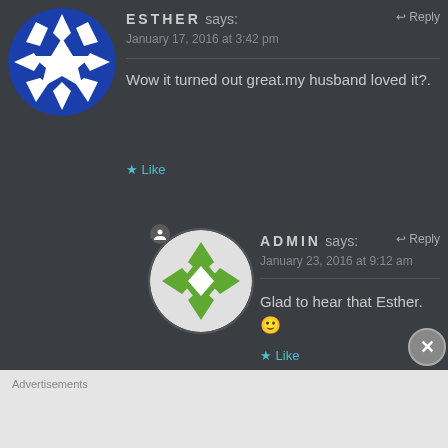[Figure (illustration): Blue and white geometric star/quilt pattern avatar for user Esther]
ESTHER says:
January 17, 2016 at 3:42 pm
Wow it turned out great.my husband loved it?.
Like
[Figure (illustration): Green and white geometric quilt pattern avatar for Admin, with small admin badge icon]
ADMIN says:
January 23, 2016 at 9:12 am
Glad to hear that Esther. 🙂
Like
Advertisements